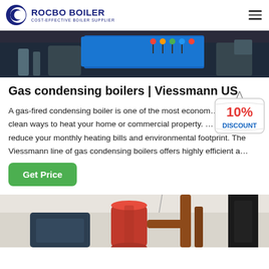[Figure (logo): Rocbo Boiler logo — blue crescent/C icon with company name ROCBO BOILER and tagline COST-EFFECTIVE BOILER SUPPLIER]
[Figure (photo): Top banner photo showing industrial boiler machinery with colored indicator lights on a blue control panel]
Gas condensing boilers | Viessmann US
A gas-fired condensing boiler is one of the most econom... clean ways to heat your home or commercial property. ... reduce your monthly heating bills and environmental footprint. The Viessmann line of gas condensing boilers offers highly efficient a...
[Figure (illustration): 10% DISCOUNT badge — red text on white hanging sign with string]
[Figure (photo): Bottom photo showing industrial boiler interior with a red cylindrical tank and brown/copper pipes]